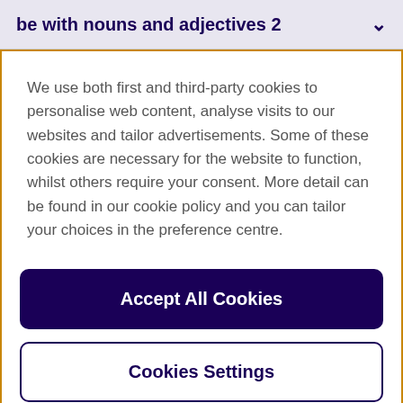be with nouns and adjectives 2
We use both first and third-party cookies to personalise web content, analyse visits to our websites and tailor advertisements. Some of these cookies are necessary for the website to function, whilst others require your consent. More detail can be found in our cookie policy and you can tailor your choices in the preference centre.
Accept All Cookies
Cookies Settings